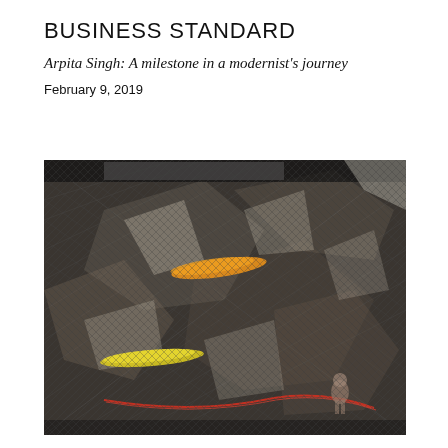BUSINESS STANDARD
Arpita Singh: A milestone in a modernist’s journey
February 9, 2019
[Figure (photo): An abstract artwork by Arpita Singh featuring a dark, textured composition with cross-hatched patterns suggesting fragmented forms or shattered surfaces. Colorful accents include an orange brushstroke near the upper-center area, a yellow brushstroke in the lower-left, and a red line curving across the lower portion. A small figurative form appears near the bottom-right.]